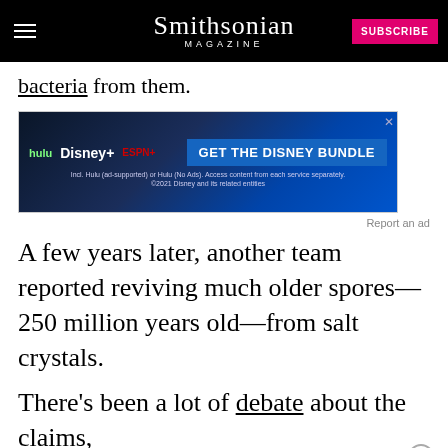Smithsonian MAGAZINE
bacteria from them.
[Figure (other): Disney Bundle advertisement banner: hulu, Disney+, ESPN+ — GET THE DISNEY BUNDLE. Incl. Hulu (ad-supported) or Hulu (No Ads). Access content from each service separately. ©2021 Disney and its related entities.]
Report an ad
A few years later, another team reported reviving much older spores—250 million years old—from salt crystals.
There's been a lot of debate about the claims, especially the latter one, because it's so easy to get b... the grou...
Report an ad
[Figure (other): Disney Bundle advertisement banner: hulu, Disney+, ESPN+ — GET THE DISNEY BUNDLE. Incl. Hulu (ad-supported) or Hulu (No Ads). Access content from each service separately. ©2021 Disney and its related entities.]